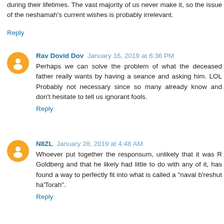during their lifetimes. The vast majority of us never make it, so the issue of the neshamah's current wishes is probably irrelevant.
Reply
Rav Dovid Dov  January 16, 2019 at 6:36 PM
Perhaps we can solve the problem of what the deceased father really wants by having a seance and asking him. LOL Probably not necessary since so many already know and don't hesitate to tell us ignorant fools.
Reply
N8ZL  January 28, 2019 at 4:48 AM
Whoever put together the responsum, unlikely that it was R Goldberg and that he likely had little to do with any of it, has found a way to perfectly fit into what is called a "naval b'reshut ha'Torah".
Reply